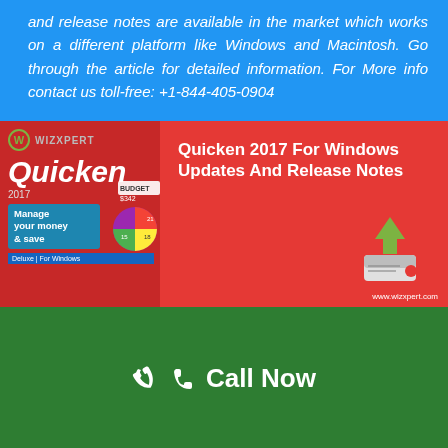and release notes are available in the market which works on a different platform like Windows and Macintosh. Go through the article for detailed information. For More info contact us toll-free: +1-844-405-0904
[Figure (infographic): WizXpert branded banner for Quicken 2017 For Windows Updates And Release Notes. Left side shows Quicken 2017 Deluxe for Windows product box with pie chart and manage your money & save tagline. Right side on red background shows title text and a download icon (hard drive with green arrow). Website www.wizxpert.com shown at bottom right.]
Call Now